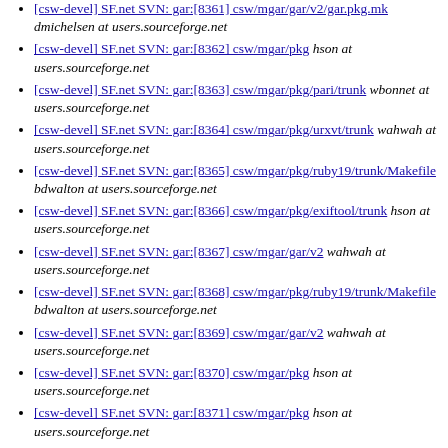[csw-devel] SF.net SVN: gar:[8361] csw/mgar/gar/v2/gar.pkg.mk  dmichelsen at users.sourceforge.net
[csw-devel] SF.net SVN: gar:[8362] csw/mgar/pkg  hson at users.sourceforge.net
[csw-devel] SF.net SVN: gar:[8363] csw/mgar/pkg/pari/trunk  wbonnet at users.sourceforge.net
[csw-devel] SF.net SVN: gar:[8364] csw/mgar/pkg/urxvt/trunk  wahwah at users.sourceforge.net
[csw-devel] SF.net SVN: gar:[8365] csw/mgar/pkg/ruby19/trunk/Makefile  bdwalton at users.sourceforge.net
[csw-devel] SF.net SVN: gar:[8366] csw/mgar/pkg/exiftool/trunk  hson at users.sourceforge.net
[csw-devel] SF.net SVN: gar:[8367] csw/mgar/gar/v2  wahwah at users.sourceforge.net
[csw-devel] SF.net SVN: gar:[8368] csw/mgar/pkg/ruby19/trunk/Makefile  bdwalton at users.sourceforge.net
[csw-devel] SF.net SVN: gar:[8369] csw/mgar/gar/v2  wahwah at users.sourceforge.net
[csw-devel] SF.net SVN: gar:[8370] csw/mgar/pkg  hson at users.sourceforge.net
[csw-devel] SF.net SVN: gar:[8371] csw/mgar/pkg  hson at users.sourceforge.net
[csw-devel] SF.net SVN: gar:[8372] csw/mgar/pkg  hson at